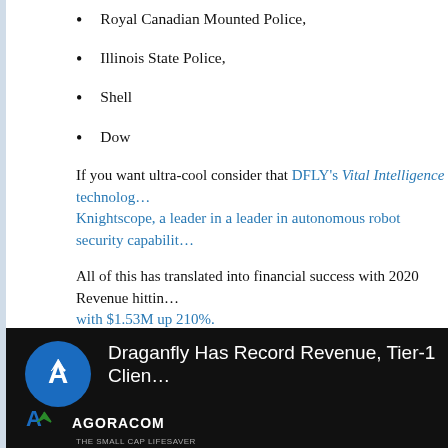Royal Canadian Mounted Police,
Illinois State Police,
Shell
Dow
If you want ultra-cool consider that DFLY's Vital Intelligence technology… Knightscope, a leader in a leader in autonomous robot security capabilities…
All of this has translated into financial success with 2020 Revenue hitting… with $1.53M up 210%.
With all of this under the Company's belt, it's easy to see why the comp…
If you believe in the massive parabolic growth in the use of drones for a… learn, then watch / listen to this powerful interview with Draganfly CEO…
[Figure (screenshot): Video thumbnail for 'Draganfly Has Record Revenue, Tier-1 Clien…' by AGORACOM, showing the AGORACOM logo and channel branding on a dark background.]